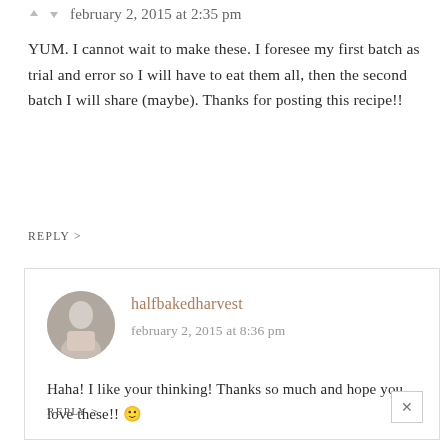february 2, 2015 at 2:35 pm
YUM. I cannot wait to make these. I foresee my first batch as trial and error so I will have to eat them all, then the second batch I will share (maybe). Thanks for posting this recipe!!
REPLY >
halfbakedharvest
february 2, 2015 at 8:36 pm
Haha! I like your thinking! Thanks so much and hope you love these!! 🙂
REPLY >